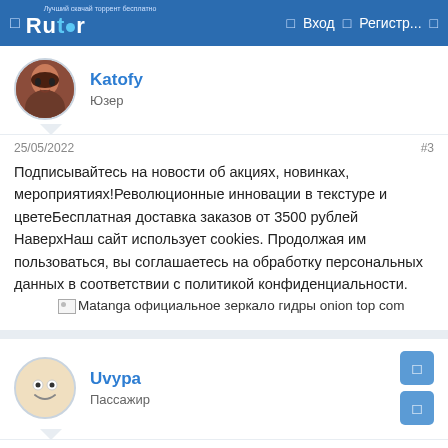Rutor | Вход | Регистр...
Katofy
Юзер
25/05/2022    #3
Подписывайтесь на новости об акциях, новинках, мероприятиях!Революционные инновации в текстуре и цветеБесплатная доставка заказов от 3500 рублей НаверхНаш сайт использует cookies. Продолжая им пользоваться, вы соглашаетесь на обработку персональных данных в соответствии с политикой конфиденциальности.
[Matanga официальное зеркало гидры onion top com
Uvypa
Пассажир
25/05/2022    #4